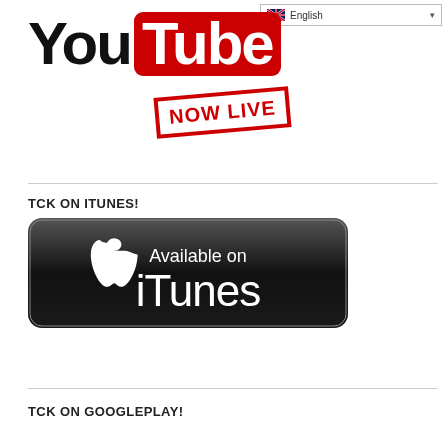English
[Figure (logo): YouTube logo with 'You' in black bold text and 'Tube' in white text on a red rounded rectangle, with a red-bordered stamp reading 'NOW LIVE' rotated slightly]
TCK ON ITUNES!
[Figure (logo): Black rounded rectangle badge with Apple logo and text 'Available on iTunes' in white]
TCK ON GOOGLEPLAY!